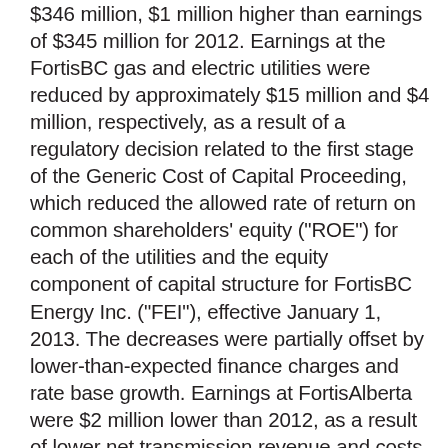$346 million, $1 million higher than earnings of $345 million for 2012. Earnings at the FortisBC gas and electric utilities were reduced by approximately $15 million and $4 million, respectively, as a result of a regulatory decision related to the first stage of the Generic Cost of Capital Proceeding, which reduced the allowed rate of return on common shareholders' equity ("ROE") for each of the utilities and the equity component of capital structure for FortisBC Energy Inc. ("FEI"), effective January 1, 2013. The decreases were partially offset by lower-than-expected finance charges and rate base growth. Earnings at FortisAlberta were $2 million lower than 2012, as a result of lower net transmission revenue and costs related to flooding in southern Alberta in June 2013, partially offset by rate base growth and growth in the number of customers. Earnings at Newfoundland Power and Maritime Electric were favourably impacted by income tax recoveries associated with Part VI.1 tax